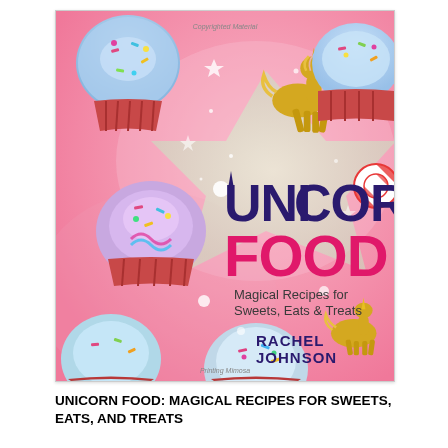[Figure (photo): Book cover of 'Unicorn Food: Magical Recipes for Sweets, Eats & Treats' by Rachel Johnson. Pink background with colorful frosted cupcakes with sprinkles, gold unicorn figurines, and a star shape. Title text reads UNICORN FOOD in large letters, with subtitle 'Magical Recipes for Sweets, Eats & Treats' and author name 'RACHEL JOHNSON'.]
UNICORN FOOD: MAGICAL RECIPES FOR SWEETS, EATS, AND TREATS